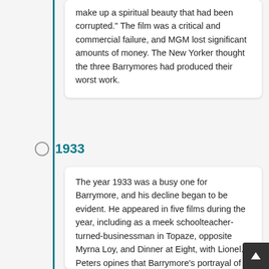make up a spiritual beauty that had been corrupted." The film was a critical and commercial failure, and MGM lost significant amounts of money. The New Yorker thought the three Barrymores had produced their worst work.
1933
The year 1933 was a busy one for Barrymore, and his decline began to be evident. He appeared in five films during the year, including as a meek schoolteacher-turned-businessman in Topaze, opposite Myrna Loy, and Dinner at Eight, with Lionel. Peters opines that Barrymore's portrayal of a washed-up alcoholic actor "could well have fixed ... in the public's and MGM's mind that John Barrymore was a drunken has-been." After the run of films with MGM, the company ended its contact with Barrymore amid its financial woes caused by the Great Depression. He then signed with Universal Studios to portray a